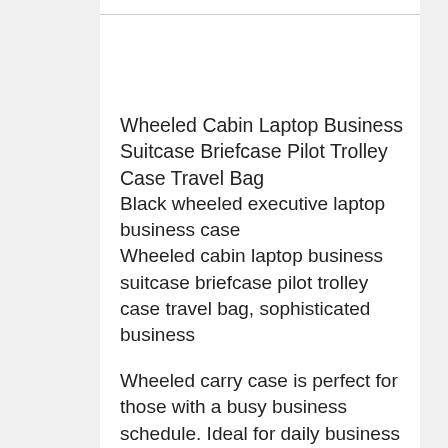Wheeled Cabin Laptop Business Suitcase Briefcase Pilot Trolley Case Travel Bag
Black wheeled executive laptop business case
Wheeled cabin laptop business suitcase briefcase pilot trolley case travel bag, sophisticated business
Wheeled carry case is perfect for those with a busy business schedule. Ideal for daily business usage and those lengthy business trips. Durable and Hard wearing, this bag is designed for the most demanding of business schedules.
High quality executive business trolley case made by super lightweight polyester material.
Designed to fit laptops up to 17" screens
Push button telescopic handle that zips